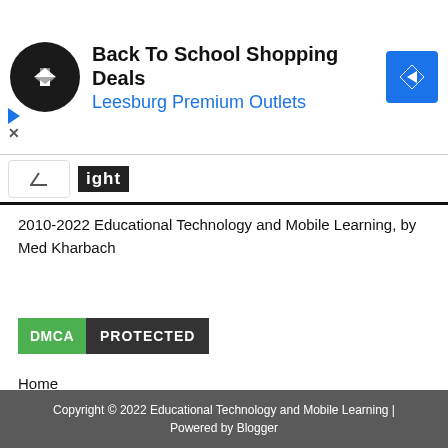[Figure (other): Advertisement banner: Back To School Shopping Deals – Leesburg Premium Outlets, with circular logo and blue diamond arrow icon]
ight
2010-2022 Educational Technology and Mobile Learning, by Med Kharbach
[Figure (other): DMCA PROTECTED badge — green DMCA label and dark PROTECTED label]
Home
Disclaimer
Our Sources
Privacy Policy
Copyright © 2022 Educational Technology and Mobile Learning | Powered by Blogger